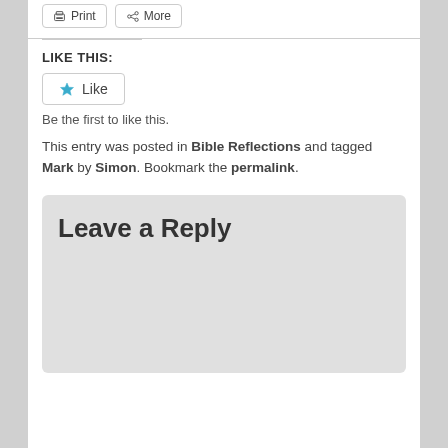Print  More
LIKE THIS:
Like
Be the first to like this.
This entry was posted in Bible Reflections and tagged Mark by Simon. Bookmark the permalink.
Leave a Reply